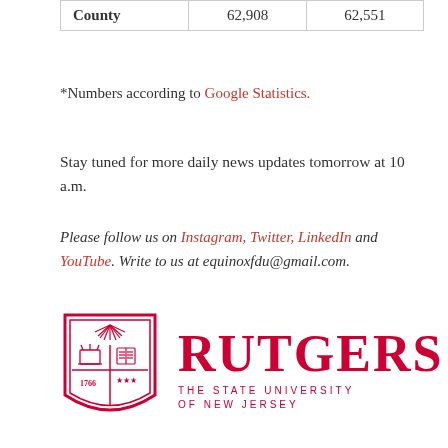|  |  |  |
| --- | --- | --- |
| County | 62,908 | 62,551 |
*Numbers according to Google Statistics.
Stay tuned for more daily news updates tomorrow at 10 a.m.
Please follow us on Instagram, Twitter, LinkedIn and YouTube. Write to us at equinoxfdu@gmail.com.
[Figure (logo): Rutgers – The State University of New Jersey logo with shield and text]